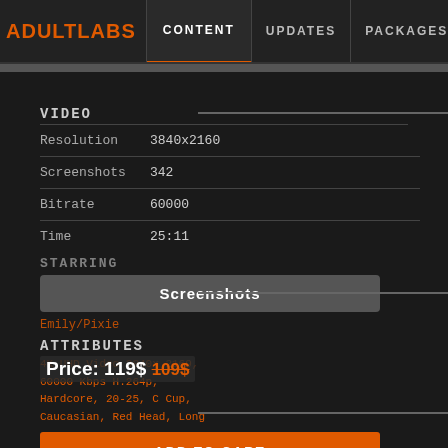ADULTLABS | CONTENT | UPDATES | PACKAGES | NEW FACES | SAL
VIDEO
| Field | Value |
| --- | --- |
| Resolution | 3840x2160 |
| Screenshots | 342 |
| Bitrate | 60000 |
| Time | 25:11 |
STARRING
Emily/Pixie
Screenshots
ATTRIBUTES
4K UHD Video 3840x 2160, 60000 Kbps H.264p, Hardcore, 20-25, C Cup, Caucasian, Red Head, Long
Price: 119$ 109$
ADD TO CART